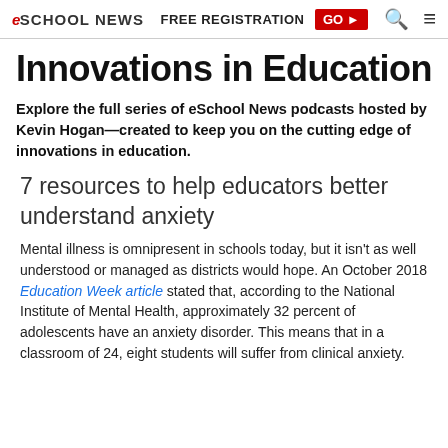eSchool News | FREE REGISTRATION GO ▶ 🔍 ≡
Innovations in Education
Explore the full series of eSchool News podcasts hosted by Kevin Hogan—created to keep you on the cutting edge of innovations in education.
7 resources to help educators better understand anxiety
Mental illness is omnipresent in schools today, but it isn't as well understood or managed as districts would hope. An October 2018 Education Week article stated that, according to the National Institute of Mental Health, approximately 32 percent of adolescents have an anxiety disorder. This means that in a classroom of 24, eight students will suffer from clinical anxiety.